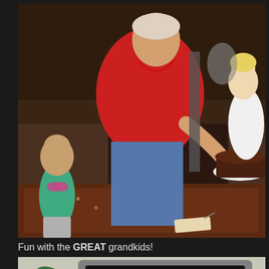[Figure (photo): An elderly woman in a red shirt bending down to hand a chocolate cake on a plate to a young girl in a white dress. A toddler in a teal shirt with a butterfly watches from the left. The setting appears to be a restaurant or gathering space with a decorative rug on the floor.]
Fun with the GREAT grandkids!
[Figure (photo): A flat-screen television or monitor with a silver/gray bezel, with a plant visible to the left side.]